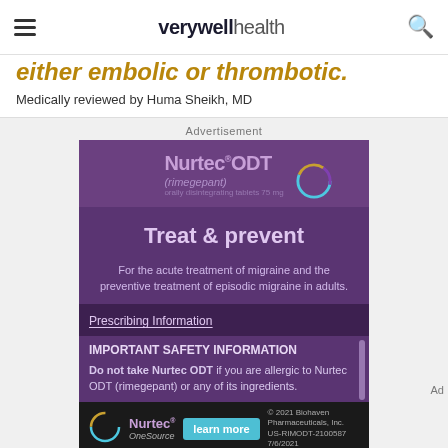verywell health
either embolic or thrombotic.
Medically reviewed by Huma Sheikh, MD
Advertisement
[Figure (infographic): Nurtec ODT (rimegepant) pharmaceutical advertisement on purple background. Shows brand logo, 'Treat & prevent' headline, description for acute treatment of migraine and preventive treatment of episodic migraine in adults, Prescribing Information link, Important Safety Information section, and a bottom banner with Nurtec OneSource logo, learn more button, and copyright info.]